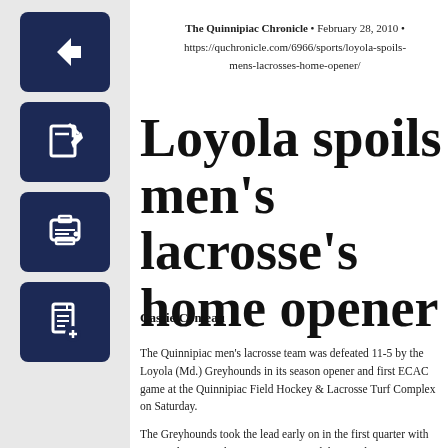The Quinnipiac Chronicle • February 28, 2010 • https://quchronicle.com/6966/sports/loyola-spoils-mens-lacrosses-home-opener/
Loyola spoils men's lacrosse's home opener
Cassie Comeau
The Quinnipiac men's lacrosse team was defeated 11-5 by the Loyola (Md.) Greyhounds in its season opener and first ECAC game at the Quinnipiac Field Hockey & Lacrosse Turf Complex on Saturday.
The Greyhounds took the lead early on in the first quarter with two goals, one at the 10:33 minute mark by attacker Cooper MacDonnell and